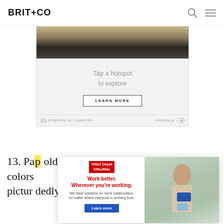BRIT+CO
[Figure (screenshot): Advertisement block with dark photo of car/field at top, grey area with 'Tap a hotspot to explore' text, LEARN MORE button, POWERED BY CONCERT and FEEDBACK footer]
13. Pap... bold colors... picture... dedly
[Figure (screenshot): Office Depot OfficeMax popup ad: 'Work better. Wherever you're working.' with woman holding folder photo on right side]